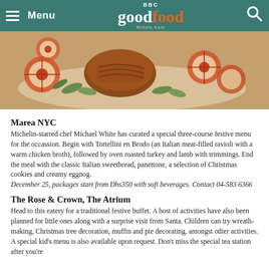Menu | BBC Good Food Middle East
[Figure (photo): Food photo showing roasted meat with apple slices and herbs on a white plate]
Marea NYC
Michelin-starred chef Michael White has curated a special three-course festive menu for the occassion. Begin with Tortellini en Brodo (an Italian meat-filled ravioli with a warm chicken broth), followed by oven roasted turkey and lamb with trimmings. End the meal with the classic Italian sweetbread, panettone, a selection of Christmas cookies and creamy eggnog.
December 25, packages start from Dhs350 with soft beverages. Contact 04-583 6366
The Rose & Crown, The Atrium
Head to this eatery for a traditional festive buffet. A host of activities have also been planned for little ones along with a surprise visit from Santa. Children can try wreath-making, Christmas tree decoration, muffin and pie decorating, amongst other activities. A special kid's menu is also available upon request. Don't miss the special tea station after you're